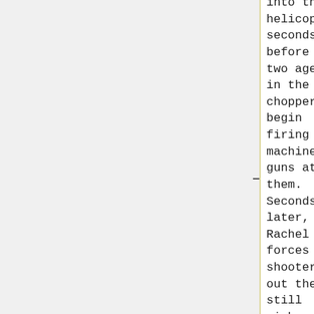into the helicopter seconds before the two agents in the chopper begin firing machine guns at them. Seconds later, Rachel forces the shooters out the still airborne helicopter and they
herself up into the helicopter seconds before the two agents in the chopper begin firing machine guns at them. Seconds later, Rachel forces the shooters out the still airborne helicopter